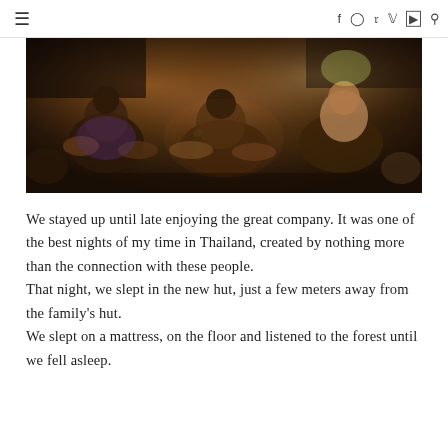≡  f  ⊙  ℘  v  ▶  🔍
[Figure (photo): Photo of people sitting cross-legged on the floor together in a dimly lit setting, appearing to share a social gathering at night]
We stayed up until late enjoying the great company. It was one of the best nights of my time in Thailand, created by nothing more than the connection with these people.
That night, we slept in the new hut, just a few meters away from the family's hut.
We slept on a mattress, on the floor and listened to the forest until we fell asleep.